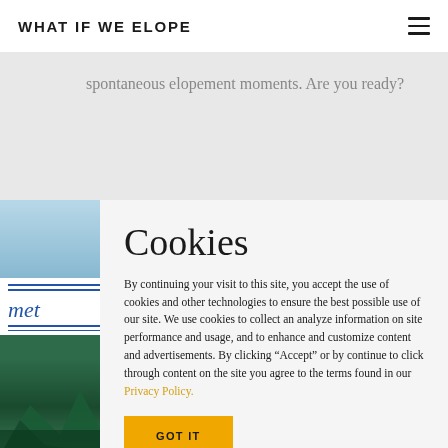WHAT IF WE ELOPE
spontaneous elopement moments. Are you ready?
Cookies
By continuing your visit to this site, you accept the use of cookies and other technologies to ensure the best possible use of our site. We use cookies to collect an analyze information on site performance and usage, and to enhance and customize content and advertisements. By clicking “Accept” or by continue to click through content on the site you agree to the terms found in our Privacy Policy.
GOT IT